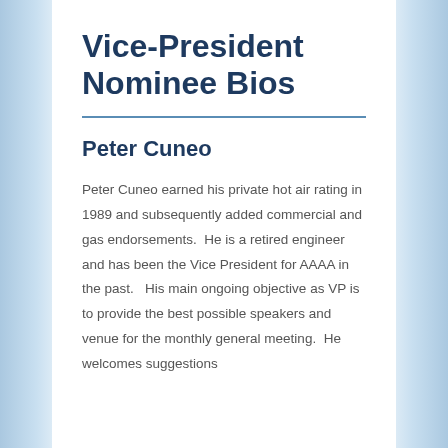Vice-President Nominee Bios
Peter Cuneo
Peter Cuneo earned his private hot air rating in 1989 and subsequently added commercial and gas endorsements.  He is a retired engineer and has been the Vice President for AAAA in the past.   His main ongoing objective as VP is to provide the best possible speakers and venue for the monthly general meeting.  He welcomes suggestions